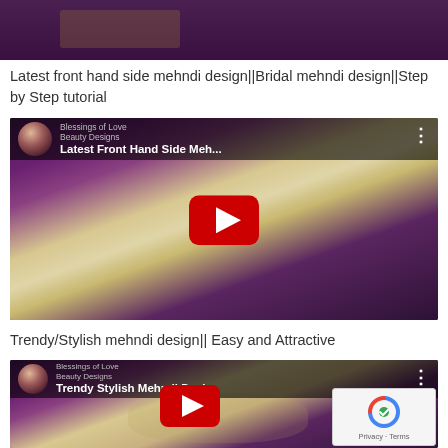[Figure (screenshot): Partial top image showing mehndi/henna design on hand with purple fabric background]
Latest front hand side mehndi design||Bridal mehndi design||Step by Step tutorial
[Figure (screenshot): YouTube video thumbnail: Latest Front Hand Side Meh... with play button, showing hand with mehndi design on purple background]
Trendy/Stylish mehndi design|| Easy and Attractive
[Figure (screenshot): YouTube video thumbnail: Trendy Stylish Mehndi Desi... with play button, showing hand with leaf mehndi design on purple background, with reCAPTCHA Privacy-Terms overlay]